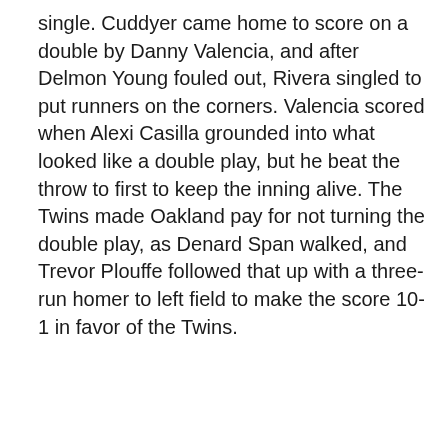single. Cuddyer came home to score on a double by Danny Valencia, and after Delmon Young fouled out, Rivera singled to put runners on the corners. Valencia scored when Alexi Casilla grounded into what looked like a double play, but he beat the throw to first to keep the inning alive. The Twins made Oakland pay for not turning the double play, as Denard Span walked, and Trevor Plouffe followed that up with a three-run homer to left field to make the score 10-1 in favor of the Twins.